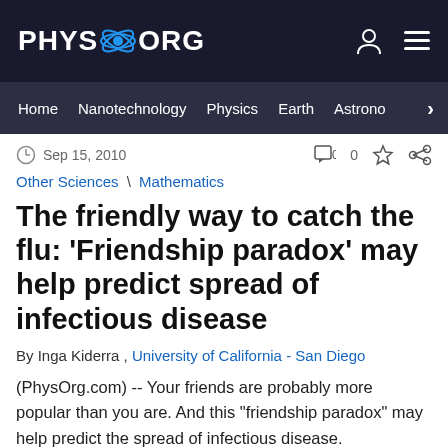PHYS.ORG
Home  Nanotechnology  Physics  Earth  Astrono
Sep 15, 2010
Other Sciences \ Mathematics
The friendly way to catch the flu: 'Friendship paradox' may help predict spread of infectious disease
By Inga Kiderra , University of California - San Diego
(PhysOrg.com) -- Your friends are probably more popular than you are. And this "friendship paradox" may help predict the spread of infectious disease.